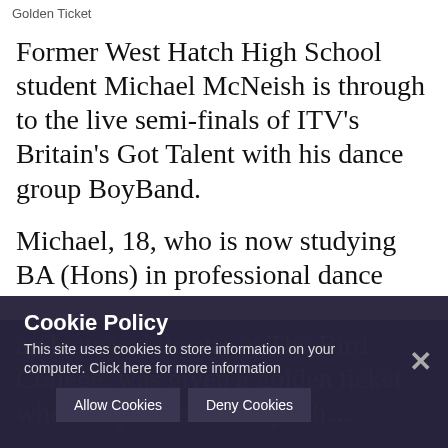Golden Ticket
Former West Hatch High School student Michael McNeish is through to the live semi-finals of ITV’s Britain’s Got Talent with his dance group BoyBand.
Michael, 18, who is now studying BA (Hons) in professional dance and musical theatre at The Bird College, was given a golden ticket to the semi-finals when he performed as part of th…
Cookie Policy
This site uses cookies to store information on your computer. Click here for more information
Allow Cookies  Deny Cookies